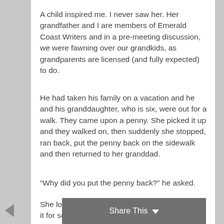A child inspired me. I never saw her. Her grandfather and I are members of Emerald Coast Writers and in a pre-meeting discussion, we were fawning over our grandkids, as grandparents are licensed (and fully expected) to do.
He had taken his family on a vacation and he and his granddaughter, who is six, were out for a walk. They came upon a penny. She picked it up and they walked on, then suddenly she stopped, ran back, put the penny back on the sidewalk and then returned to her granddad.
“Why did you put the penny back?” he asked.
She looked up at him. “I have enough luck. I left it for somebody who needs it.”
Share This